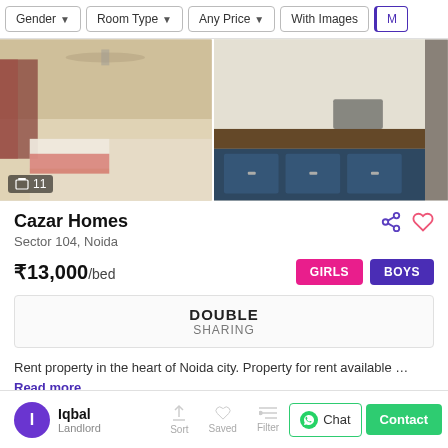Gender | Room Type | Any Price | With Images | Me
[Figure (photo): Three room photos side by side: bedroom with fan and curtains, kitchen with blue cabinets, partial third room. Image count badge shows 11.]
Cazar Homes
Sector 104, Noida
₹13,000/bed
GIRLS  BOYS
DOUBLE SHARING
Rent property in the heart of Noida city. Property for rent available … Read more
1.6 km from Sector - 106
Iqbal Landlord